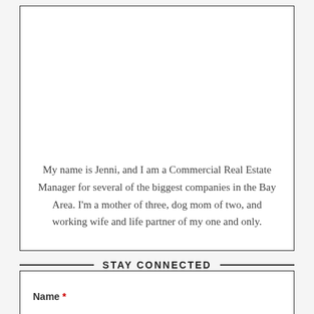My name is Jenni, and I am a Commercial Real Estate Manager for several of the biggest companies in the Bay Area. I'm a mother of three, dog mom of two, and working wife and life partner of my one and only.
STAY CONNECTED
Name *